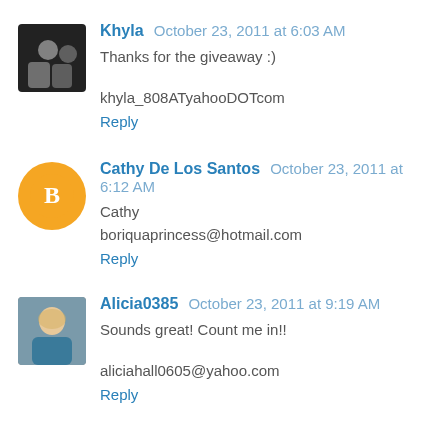[Figure (photo): Avatar photo of Khyla - two people in dark clothing]
Khyla  October 23, 2011 at 6:03 AM
Thanks for the giveaway :)
khyla_808ATyahooDOTcom
Reply
[Figure (logo): Blogger orange circle avatar with B icon]
Cathy De Los Santos  October 23, 2011 at 6:12 AM
Cathy
boriquaprincess@hotmail.com
Reply
[Figure (photo): Avatar photo of Alicia0385 - woman with blonde hair]
Alicia0385  October 23, 2011 at 9:19 AM
Sounds great! Count me in!!
aliciahall0605@yahoo.com
Reply